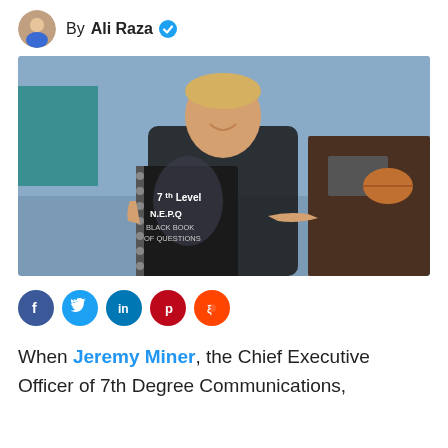By Ali Raza
[Figure (photo): Man in black shirt smiling and pointing at a spiral-bound book titled '7th Level N.E.P.Q BLACK BOOK OF QUESTIONS', in an office setting]
[Figure (infographic): Social media share icons: Facebook, Twitter, LinkedIn, Pinterest, Reddit]
When Jeremy Miner, the Chief Executive Officer of 7th Degree Communications,